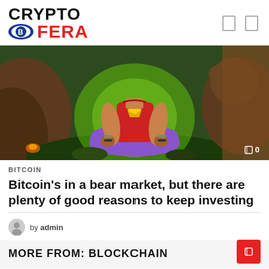CRYPTO FERA
[Figure (illustration): Cartoon illustration of a person in a red t-shirt with a yellow crystal/gem on the chest, sitting in a meditation lotus pose with purple pants, glowing green aura, surrounded by rocky cave-like background with a large brown bear visible on the right side. A counter showing '0' appears in the bottom right of the image.]
BITCOIN
Bitcoin's in a bear market, but there are plenty of good reasons to keep investing
by admin
MORE FROM: BLOCKCHAIN